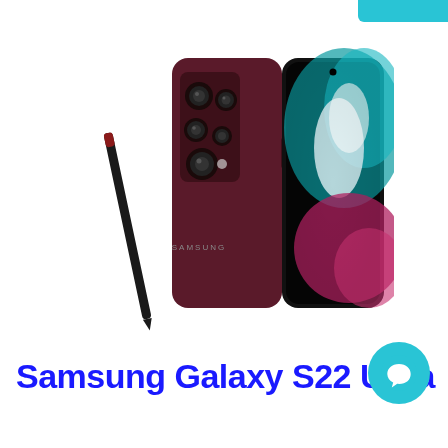[Figure (photo): Samsung Galaxy S22 Ultra smartphone shown from back (deep burgundy/dark red color with five rear cameras and S Pen stylus beside it) and front (display showing colorful abstract wallpaper). S Pen is positioned diagonally to the left of the phone.]
Samsung Galaxy S22 Ultra